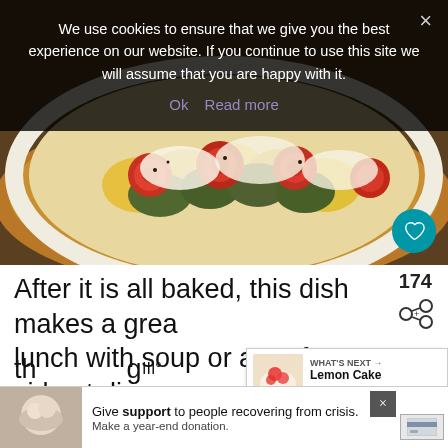We use cookies to ensure that we give you the best experience on our website. If you continue to use this site we will assume that you are happy with it.
Ok   Read more
[Figure (photo): Overhead view of a baked vegetable dish in a white dish, showing sliced zucchini, yellow squash, tomatoes and cheese topping on a decorative plate]
174
After it is all baked, this dish makes a great lunch with soup or a perfect side at din... You can change up any of the veggies you like, the key is to slice them all the same th...
WHAT'S NEXT → Lemon Cake Yogurt Fruit...
Give support to people recovering from crisis. Make a year-end donation.